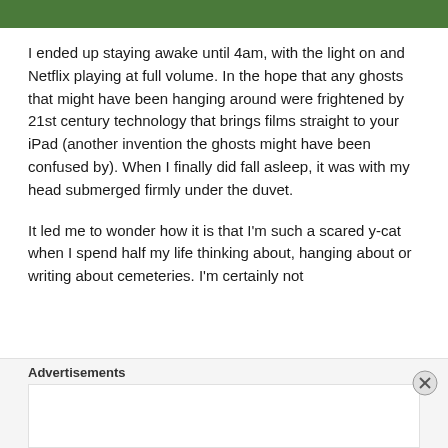[Figure (photo): Top strip of green grass/turf image]
I ended up staying awake until 4am, with the light on and Netflix playing at full volume. In the hope that any ghosts that might have been hanging around were frightened by 21st century technology that brings films straight to your iPad (another invention the ghosts might have been confused by). When I finally did fall asleep, it was with my head submerged firmly under the duvet.
It led me to wonder how it is that I’m such a scared y-cat when I spend half my life thinking about, hanging about or writing about cemeteries. I’m certainly not
Advertisements